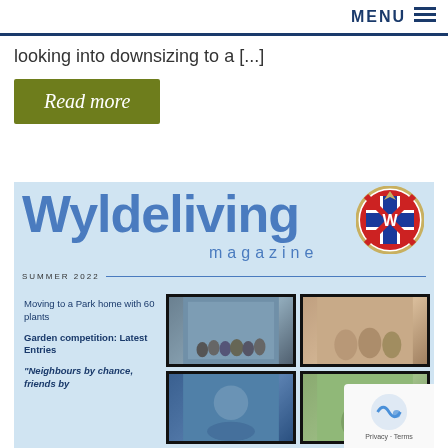MENU ≡
looking into downsizing to a [...]
Read more
[Figure (photo): Wyldeliving magazine cover, Summer 2022 issue, showing the magazine title in large blue text with a Union Jack badge, and four framed photographs of people, with text 'Moving to a Park home with 60 plants', 'Garden competition: Latest Entries', '"Neighbours by chance, friends by']
Moving to a Park home with 60 plants
Garden competition: Latest Entries
"Neighbours by chance, friends by